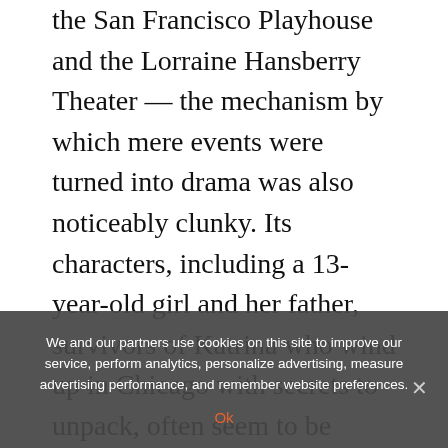the San Francisco Playhouse and the Lorraine Hansberry Theater — the mechanism by which mere events were turned into drama was also noticeably clunky. Its characters, including a 13-year-old girl and her father, survivors of Katrina who wind up in Chicago with secrets to unpack, often seem to be serving the author's needs instead of their own.
There are times when “shadow/land” suffers from the same condition, one sign of which is the tendency of Ruth and Magalee to provide
We and our partners use cookies on this site to improve our service, perform analytics, personalize advertising, measure advertising performance, and remember website preferences.